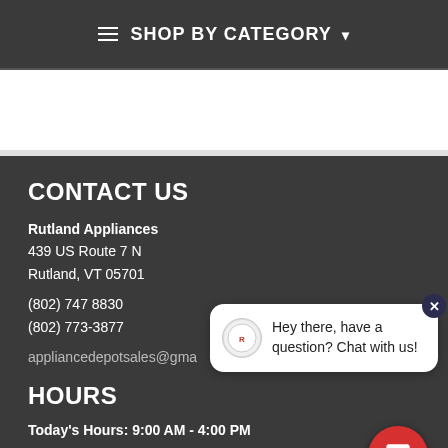≡ SHOP BY CATEGORY ▾
CONTACT US
Rutland Appliances
439 US Route 7 N
Rutland, VT 05701

(802) 747 8830
(802) 773-3877

appliancedepotsales@gma...
HOURS
Today's Hours: 9:00 AM - 4:00 PM
CUSTOMER SERVICE
[Figure (screenshot): Chat popup overlay with avatar logo and text: Hey there, have a question? Chat with us! with a red chat button below.]